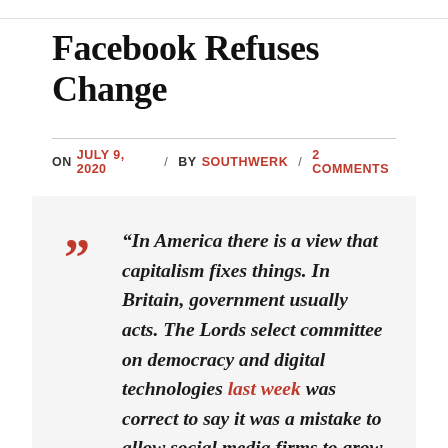Facebook Refuses Change
ON JULY 9, 2020 / BY SOUTHWERK / 2 COMMENTS
“In America there is a view that capitalism fixes things. In Britain, government usually acts. The Lords select committee on democracy and digital technologies last week was correct to say it was a mistake to allow social media firms to grow unimpeded by regulation. This the